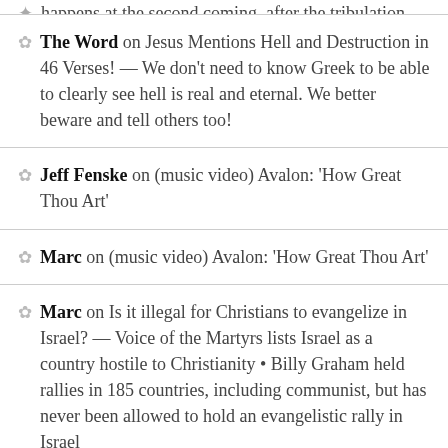The Word on Jesus Mentions Hell and Destruction in 46 Verses! — We don't need to know Greek to be able to clearly see hell is real and eternal. We better beware and tell others too!
Jeff Fenske on (music video) Avalon: 'How Great Thou Art'
Marc on (music video) Avalon: 'How Great Thou Art'
Marc on Is it illegal for Christians to evangelize in Israel? — Voice of the Martyrs lists Israel as a country hostile to Christianity • Billy Graham held rallies in 185 countries, including communist, but has never been allowed to hold an evangelistic rally in Israel
Marc on ...